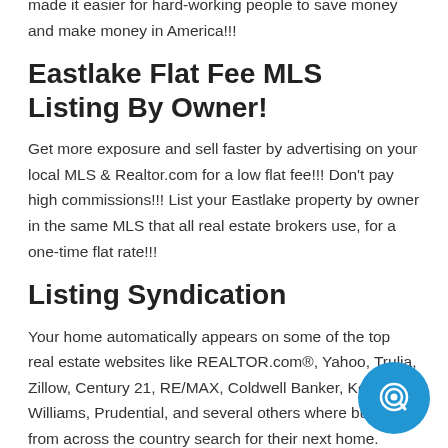made it easier for hard-working people to save money and make money in America!!!
Eastlake Flat Fee MLS Listing By Owner!
Get more exposure and sell faster by advertising on your local MLS & Realtor.com for a low flat fee!!! Don't pay high commissions!!! List your Eastlake property by owner in the same MLS that all real estate brokers use, for a one-time flat rate!!!
Listing Syndication
Your home automatically appears on some of the top real estate websites like REALTOR.com®, Yahoo, Trulia, Zillow, Century 21, RE/MAX, Coldwell Banker, Keller Williams, Prudential, and several others where buyers from across the country search for their next home.
Eastlake Discount